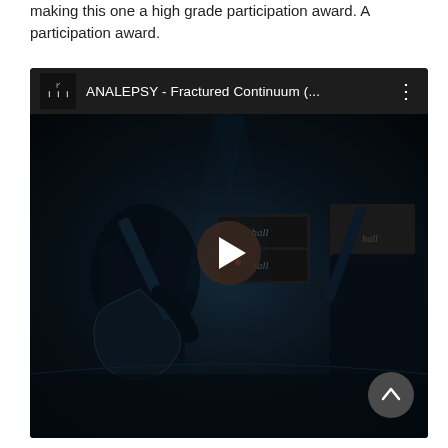making this one a high grade participation award. A participation award.
[Figure (screenshot): YouTube video embed showing ANALEPSY - Fractured Continuum (... with a band playing guitars in a dark scene, play button overlay, and a scroll-to-top button at bottom right]